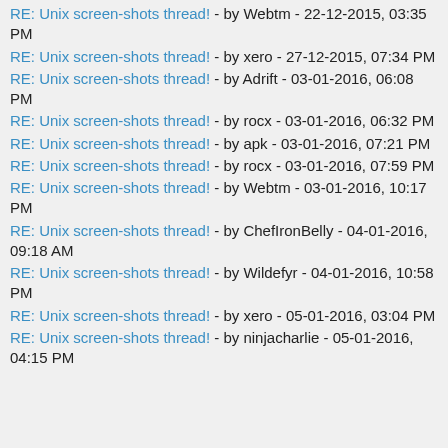RE: Unix screen-shots thread! - by Webtm - 22-12-2015, 03:35 PM
RE: Unix screen-shots thread! - by xero - 27-12-2015, 07:34 PM
RE: Unix screen-shots thread! - by Adrift - 03-01-2016, 06:08 PM
RE: Unix screen-shots thread! - by rocx - 03-01-2016, 06:32 PM
RE: Unix screen-shots thread! - by apk - 03-01-2016, 07:21 PM
RE: Unix screen-shots thread! - by rocx - 03-01-2016, 07:59 PM
RE: Unix screen-shots thread! - by Webtm - 03-01-2016, 10:17 PM
RE: Unix screen-shots thread! - by ChefIronBelly - 04-01-2016, 09:18 AM
RE: Unix screen-shots thread! - by Wildefyr - 04-01-2016, 10:58 PM
RE: Unix screen-shots thread! - by xero - 05-01-2016, 03:04 PM
RE: Unix screen-shots thread! - by ninjacharlie - 05-01-2016, 04:15 PM